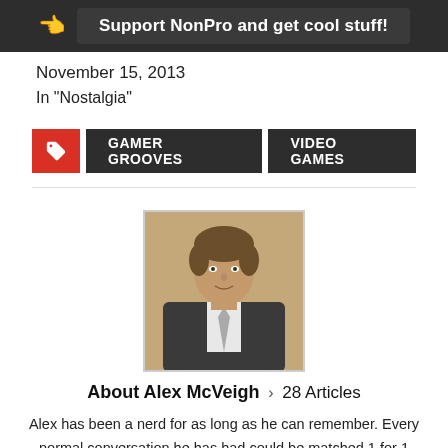Support NonPro and get cool stuff!
November 15, 2013
In "Nostalgia"
GAMER GROOVES   VIDEO GAMES
[Figure (photo): Headshot of Alex McVeigh, a young man with brown hair wearing a dark suit jacket and white shirt, photographed from the side/front against a tan background.]
About Alex McVeigh > 28 Articles
Alex has been a nerd for as long as he can remember. Every normal conversation he has had could be matched 1 for 1 with a conversation about why Scrooge McDuck is obviously richer than Edward Cullens' Dad and here's why. He can talk about and play video games for hours only to conclude with "anyone